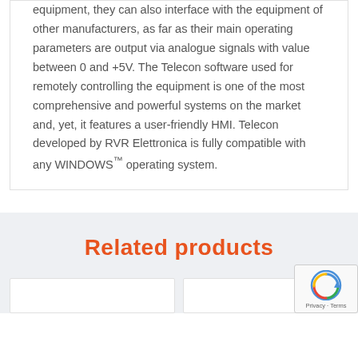equipment, they can also interface with the equipment of other manufacturers, as far as their main operating parameters are output via analogue signals with value between 0 and +5V. The Telecon software used for remotely controlling the equipment is one of the most comprehensive and powerful systems on the market and, yet, it features a user-friendly HMI. Telecon developed by RVR Elettronica is fully compatible with any WINDOWS™ operating system.
Related products